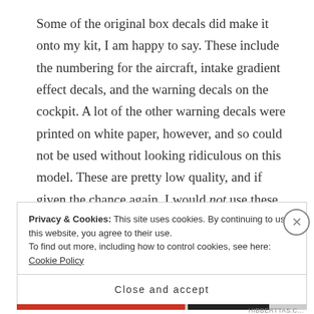Some of the original box decals did make it onto my kit, I am happy to say. These include the numbering for the aircraft, intake gradient effect decals, and the warning decals on the cockpit. A lot of the other warning decals were printed on white paper, however, and so could not be used without looking ridiculous on this model. These are pretty low quality, and if given the chance again, I would not use these.
Privacy & Cookies: This site uses cookies. By continuing to use this website, you agree to their use. To find out more, including how to control cookies, see here: Cookie Policy
Close and accept